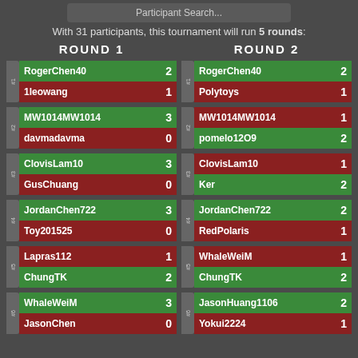Participant Search...
With 31 participants, this tournament will run 5 rounds:
ROUND 1
ROUND 2
| Player | Score |
| --- | --- |
| RogerChen40 | 2 |
| 1leowang | 1 |
| MW1014MW1014 | 3 |
| davmadavma | 0 |
| ClovisLam10 | 3 |
| GusChuang | 0 |
| JordanChen722 | 3 |
| Toy201525 | 0 |
| Lapras112 | 1 |
| ChungTK | 2 |
| WhaleWeiM | 3 |
| JasonChen | 0 |
| Player | Score |
| --- | --- |
| RogerChen40 | 2 |
| Polytoys | 1 |
| MW1014MW1014 | 1 |
| pomelo12O9 | 2 |
| ClovisLam10 | 1 |
| Ker | 2 |
| JordanChen722 | 2 |
| RedPolaris | 1 |
| WhaleWeiM | 1 |
| ChungTK | 2 |
| JasonHuang1106 | 2 |
| Yokui2224 | 1 |